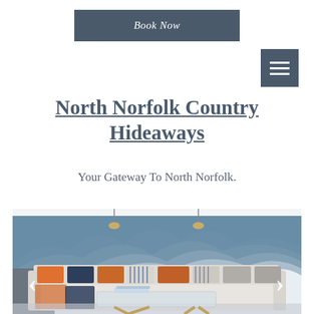Book Now
[Figure (screenshot): Hamburger menu icon (three horizontal white lines on dark slate-blue square background)]
North Norfolk Country Hideaways
Your Gateway To North Norfolk.
[Figure (photo): Interior living room photo showing a white sectional sofa with orange, navy, striped, and grey cushions, a glass-top coffee table with X-shaped wooden legs, and a mural of blue-grey mountain silhouettes on the wall. Two pendant lights hang from the ceiling. Navigation arrows (< >) are overlaid on the left and right sides of the image.]